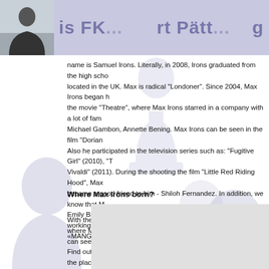is Fk... ...rt Patt... ...g
[Figure (photo): Small portrait photo of a man in a black jacket, top-left corner of header]
[Figure (illustration): Watermark silhouette figures of people in light purple/blue on background]
name is Samuel Irons. Literally, in 2008, Irons graduated from the high school located in the UK. Max is radical "Londoner". Since 2004, Max Irons began the movie "Theatre", where Max Irons starred in a company with a lot of fam Michael Gambon, Annette Bening. Max Irons can be seen in the film "Dorian Also he participated in the television series such as: "Fugitive Girl" (2010), "T Vivaldi" (2011). During the shooting the film "Little Red Riding Hood", Max became a good friend to him - Shiloh Fernandez. In addition, we know that M Emily Browning. At the time, Max Irons dabbled in modeling, working with s «MANGO».
Where Max Irons born?
With the help of the Google satellite map you can find the place where Max I can see the place itself and the area it is situated in and nearby. Find out wher the place itself even not traveling.